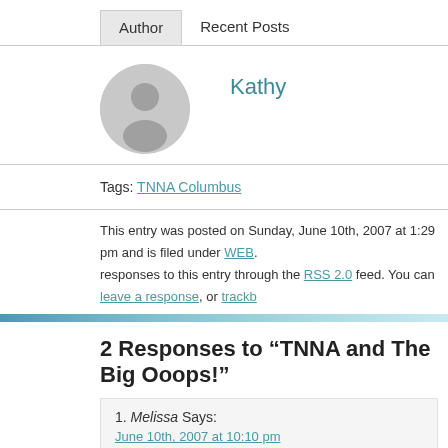Author | Recent Posts
Kathy
Tags: TNNA Columbus
This entry was posted on Sunday, June 10th, 2007 at 1:29 pm and is filed under WEB. You can follow any responses to this entry through the RSS 2.0 feed. You can leave a response, or trackb
2 Responses to “TNNA and The Big Ooops!”
1. Melissa Says:
June 10th, 2007 at 10:10 pm
Mr. Wonderful wishes to know if I need a handler for next spring’s TNN